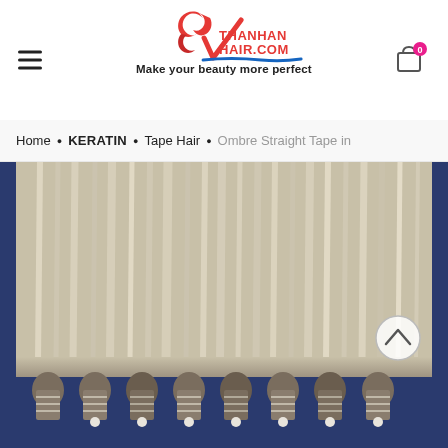[Figure (logo): Thanh An Hair logo with red flame bird design and blue wave, text THANHANHAIR.COM]
Make your beauty more perfect
Home • KERATIN • Tape Hair • Ombre Straight Tape in
[Figure (photo): Photo of blonde/platinum ombre straight tape-in hair extensions laid out on a blue surface, showing individual wefts with tape bonds at the bottom]